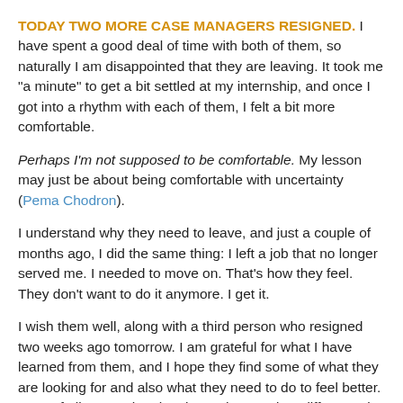TODAY TWO MORE CASE MANAGERS RESIGNED. I have spent a good deal of time with both of them, so naturally I am disappointed that they are leaving. It took me "a minute" to get a bit settled at my internship, and once I got into a rhythm with each of them, I felt a bit more comfortable.
Perhaps I'm not supposed to be comfortable. My lesson may just be about being comfortable with uncertainty (Pema Chodron).
I understand why they need to leave, and just a couple of months ago, I did the same thing: I left a job that no longer served me. I needed to move on. That's how they feel. They don't want to do it anymore. I get it.
I wish them well, along with a third person who resigned two weeks ago tomorrow. I am grateful for what I have learned from them, and I hope they find some of what they are looking for and also what they need to do to feel better. Most of all, I pray that they know they made a difference in many peoples' lives, including mine.